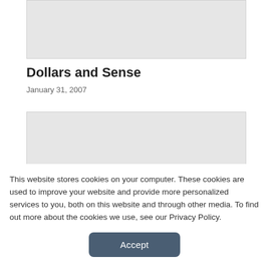[Figure (photo): Gray placeholder image block at top of article]
Dollars and Sense
January 31, 2007
[Figure (photo): Gray placeholder image block below article title with two horizontal lines at bottom]
This website stores cookies on your computer. These cookies are used to improve your website and provide more personalized services to you, both on this website and through other media. To find out more about the cookies we use, see our Privacy Policy.
Accept